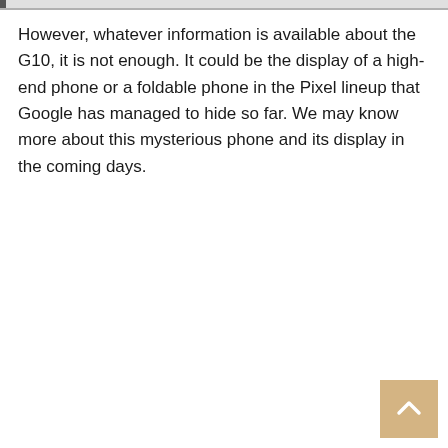However, whatever information is available about the G10, it is not enough. It could be the display of a high-end phone or a foldable phone in the Pixel lineup that Google has managed to hide so far. We may know more about this mysterious phone and its display in the coming days.